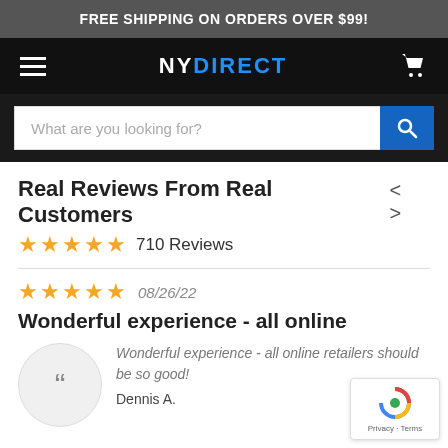FREE SHIPPING ON ORDERS OVER $99!
[Figure (screenshot): NYDirect website navigation bar with hamburger menu, logo, and cart icon]
[Figure (screenshot): Search bar with placeholder text 'What are you looking for?' and blue search button]
Real Reviews From Real Customers
★★★★★ 710 Reviews
★★★★★ 08/26/22
Wonderful experience - all online
Wonderful experience - all online retailers should be so good!
Dennis A.